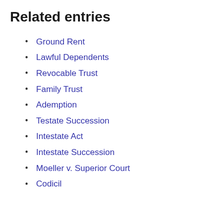Related entries
Ground Rent
Lawful Dependents
Revocable Trust
Family Trust
Ademption
Testate Succession
Intestate Act
Intestate Succession
Moeller v. Superior Court
Codicil